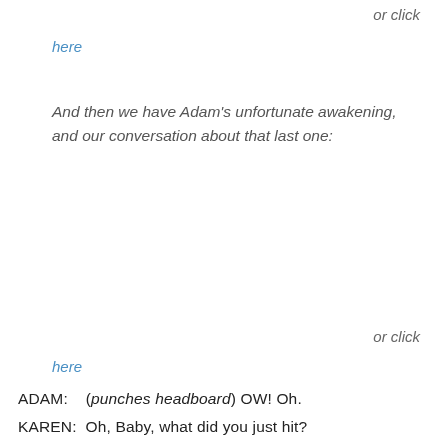or click
here
And then we have Adam's unfortunate awakening, and our conversation about that last one:
or click
here
ADAM:    (punches headboard) OW! Oh.
KAREN:  Oh, Baby, what did you just hit?